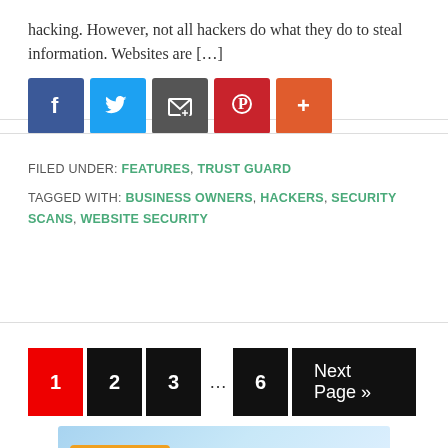hacking. However, not all hackers do what they do to steal information. Websites are […]
[Figure (infographic): Social sharing icons: Facebook (blue), Twitter (light blue), Email/Share (dark gray), Pinterest (red), More/Plus (orange-red)]
FILED UNDER: FEATURES, TRUST GUARD
TAGGED WITH: BUSINESS OWNERS, HACKERS, SECURITY SCANS, WEBSITE SECURITY
[Figure (infographic): Pagination bar with page buttons: 1 (current, red), 2 (black), 3 (black), ..., 6 (black), Next Page » (black)]
[Figure (infographic): Banner advertisement with orange 'Click Here' button and green/gray 'axBUYER' logo text on blue background]